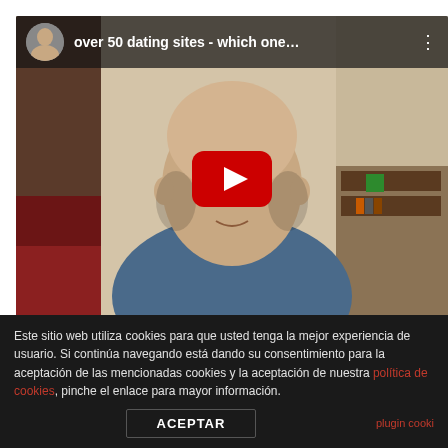[Figure (screenshot): YouTube video embed showing a bald man in a blue shirt sitting in a room. The video title reads 'over 50 dating sites - which one...' with a channel avatar, three-dot menu, and a large red YouTube play button overlay in the center.]
Este sitio web utiliza cookies para que usted tenga la mejor experiencia de usuario. Si continúa navegando está dando su consentimiento para la aceptación de las mencionadas cookies y la aceptación de nuestra política de cookies, pinche el enlace para mayor información.
ACEPTAR
plugin cooki